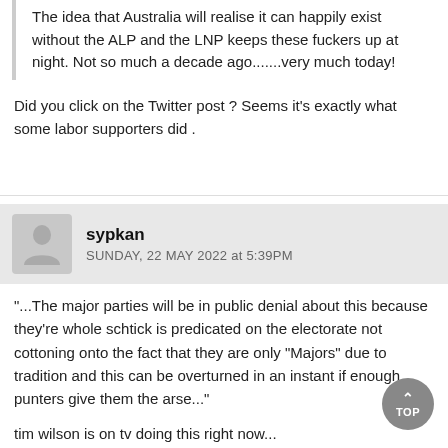The idea that Australia will realise it can happily exist without the ALP and the LNP keeps these fuckers up at night. Not so much a decade ago.......very much today!
Did you click on the Twitter post ? Seems it's exactly what some labor supporters did .
sypkan
SUNDAY, 22 MAY 2022 at 5:39PM
"...The major parties will be in public denial about this because they're whole schtick is predicated on the electorate not cottoning onto the fact that they are only "Majors" due to tradition and this can be overturned in an instant if enough punters give them the arse..."
tim wilson is on tv doing this right now...
"...i dont think we should read too much into this... blah